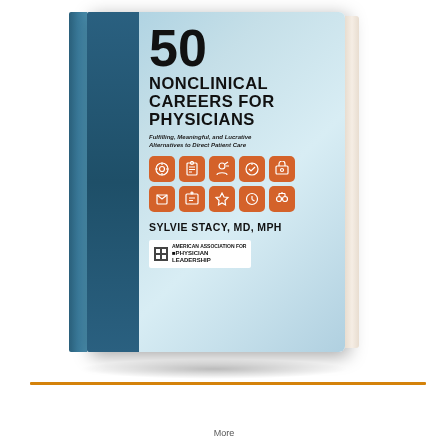[Figure (photo): 3D rendered book cover of '50 Nonclinical Careers for Physicians: Fulfilling, Meaningful, and Lucrative Alternatives to Direct Patient Care' by Sylvie Stacy, MD, MPH. Published by American Association for Physician Leadership. Cover features a light blue gradient background, dark navy left stripe, large bold title text, subtitle in italic, a 2x5 grid of orange rounded-square icons with white line art symbols, and the publisher's white logo at the bottom. The book is shown in a slightly angled 3D perspective with spine visible on left.]
More